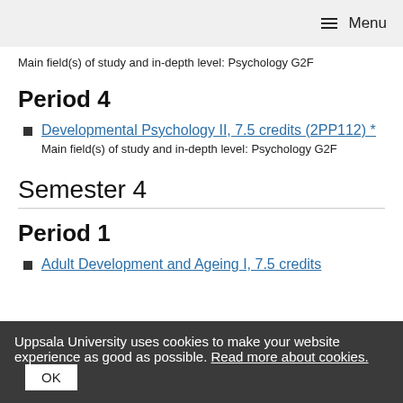Menu
Main field(s) of study and in-depth level: Psychology G2F
Period 4
Developmental Psychology II, 7.5 credits (2PP112) *
Main field(s) of study and in-depth level: Psychology G2F
Semester 4
Period 1
Adult Development and Ageing I, 7.5 credits
Uppsala University uses cookies to make your website experience as good as possible. Read more about cookies.